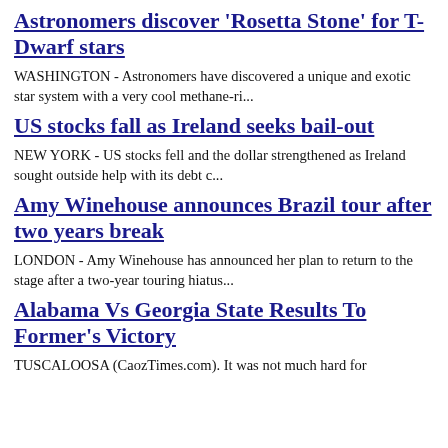Astronomers discover 'Rosetta Stone' for T-Dwarf stars
WASHINGTON - Astronomers have discovered a unique and exotic star system with a very cool methane-ri...
US stocks fall as Ireland seeks bail-out
NEW YORK - US stocks fell and the dollar strengthened as Ireland sought outside help with its debt c...
Amy Winehouse announces Brazil tour after two years break
LONDON - Amy Winehouse has announced her plan to return to the stage after a two-year touring hiatus...
Alabama Vs Georgia State Results To Former's Victory
TUSCALOOSA (CaozTimes.com). It was not much hard for